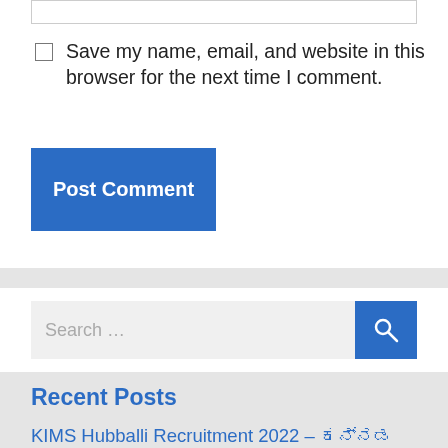Save my name, email, and website in this browser for the next time I comment.
Post Comment
Search …
Recent Posts
KIMS Hubballi Recruitment 2022 – ಕನ್ನಡ